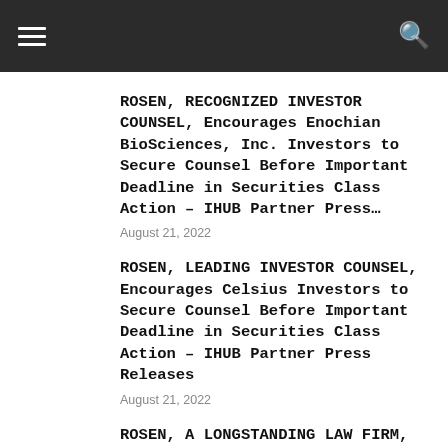ROSEN, RECOGNIZED INVESTOR COUNSEL, Encourages Enochian BioSciences, Inc. Investors to Secure Counsel Before Important Deadline in Securities Class Action – IHUB Partner Press…
August 21, 2022
ROSEN, LEADING INVESTOR COUNSEL, Encourages Celsius Investors to Secure Counsel Before Important Deadline in Securities Class Action – IHUB Partner Press Releases
August 21, 2022
ROSEN, A LONGSTANDING LAW FIRM,